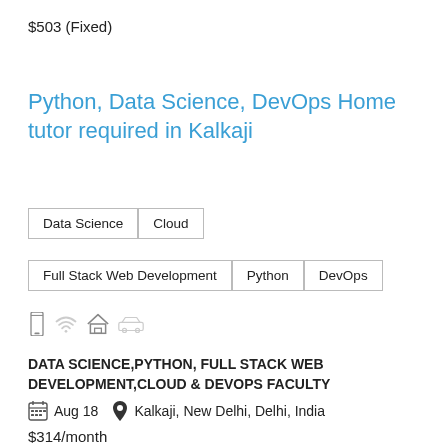$503 (Fixed)
Python, Data Science, DevOps Home tutor required in Kalkaji
Data Science
Cloud
Full Stack Web Development
Python
DevOps
[Figure (infographic): Icons: mobile phone, wifi, house, car]
DATA SCIENCE,PYTHON, FULL STACK WEB DEVELOPMENT,CLOUD & DEVOPS FACULTY
Aug 18   Kalkaji, New Delhi, Delhi, India
$314/month